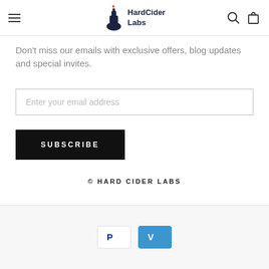HardCider Labs
Don't miss our emails with exclusive offers, blog updates and special invites.
Enter your email address
SUBSCRIBE
© HARD CIDER LABS
[Figure (logo): PayPal and Venmo payment icons]